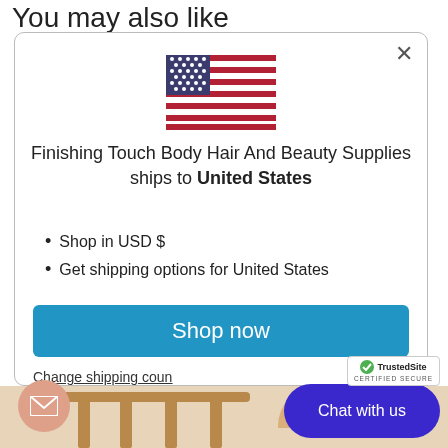You may also like
[Figure (illustration): US flag emoji/icon centered in modal]
Finishing Touch Body Hair And Beauty Supplies ships to United States
Shop in USD $
Get shipping options for United States
Shop now
Change shipping country
[Figure (illustration): Chat with us button (dark blue pill shape) and email circle icon]
[Figure (illustration): Furniture/table legs at bottom of page, TrustedSite certified secure badge]